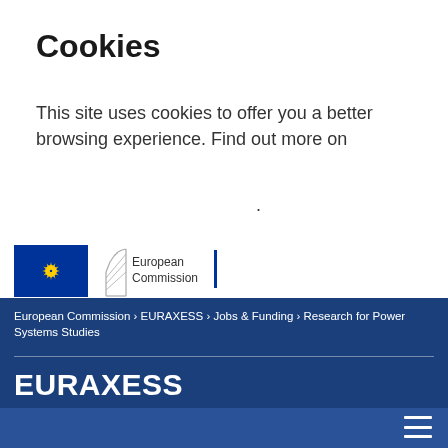Cookies
This site uses cookies to offer you a better browsing experience. Find out more on .
[Figure (logo): European Commission logo with EU flag (blue square with yellow stars) and stylized building outline, with text 'European Commission' and a blue vertical bar]
European Commission › EURAXESS › Jobs & Funding › Research for Power Systems Studies
EURAXESS